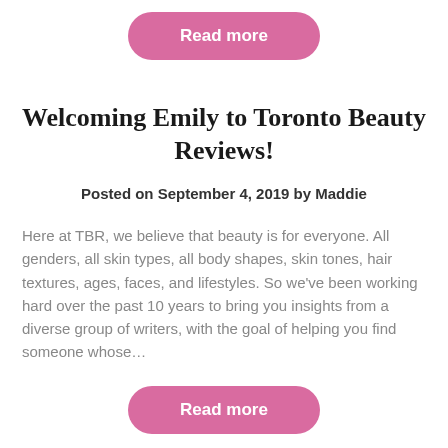Read more
Welcoming Emily to Toronto Beauty Reviews!
Posted on September 4, 2019 by Maddie
Here at TBR, we believe that beauty is for everyone. All genders, all skin types, all body shapes, skin tones, hair textures, ages, faces, and lifestyles. So we've been working hard over the past 10 years to bring you insights from a diverse group of writers, with the goal of helping you find someone whose…
Read more